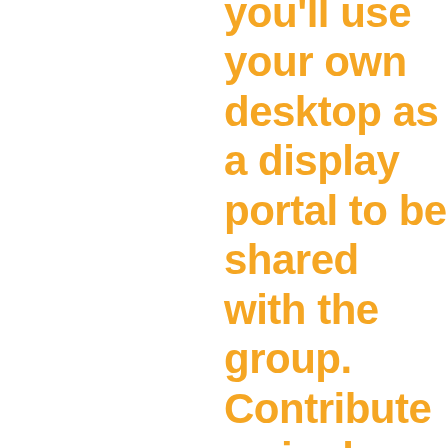function, you'll use your own desktop as a display portal to be shared with the group. Contribute a single image or word, a poem, a video, or an entire landscape of material—anything that can fit onto your desktop. Wild creativity encouraged! Each desktop will become a printed page in SCREEN SHARE, a collaborative publication to be compiled during this one-time-only event, risograph printed at Queer.Archive.Work, and mailed to all